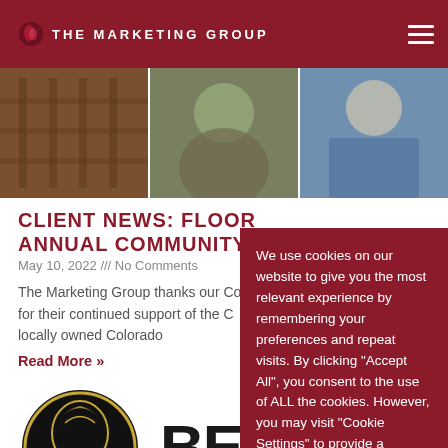THE MARKETING GROUP
[Figure (photo): Three-panel photo strip showing wooden structure, a person outdoors, and a person in a blue denim shirt]
CLIENT NEWS: FLOOR ANNUAL COMMUNITY
May 10, 2022 /// No Comments
The Marketing Group thanks our Co for their continued support of the C locally owned Colorado
Read More »
[Figure (logo): Circular badge logo with floral design and '2022' text, letters 'BE' visible]
We use cookies on our website to give you the most relevant experience by remembering your preferences and repeat visits. By clicking "Accept All", you consent to the use of ALL the cookies. However, you may visit "Cookie Settings" to provide a controlled consent.